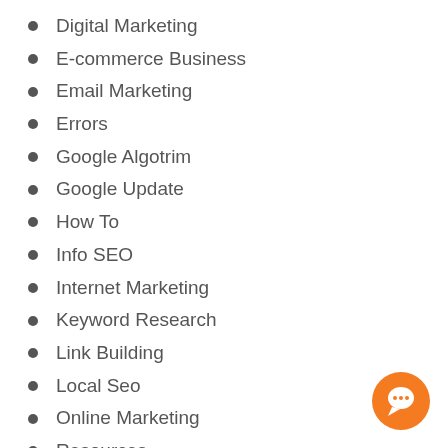Digital Marketing
E-commerce Business
Email Marketing
Errors
Google Algotrim
Google Update
How To
Info SEO
Internet Marketing
Keyword Research
Link Building
Local Seo
Online Marketing
Resources
Search Engine
[Figure (illustration): Orange circular chat/support button icon in bottom right corner]